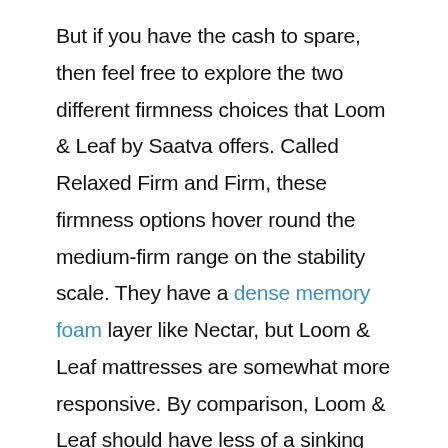But if you have the cash to spare, then feel free to explore the two different firmness choices that Loom & Leaf by Saatva offers. Called Relaxed Firm and Firm, these firmness options hover round the medium-firm range on the stability scale. They have a dense memory foam layer like Nectar, but Loom & Leaf mattresses are somewhat more responsive. By comparison, Loom & Leaf should have less of a sinking feeling when you sleep on it.
Because of the two firmness levels that I said, customers will probably be able to find the right mattress in Loom & Leaf's lineup. The Relaxed Firm model is better for side sleepers, because it will give them more pressure relief. The Business...